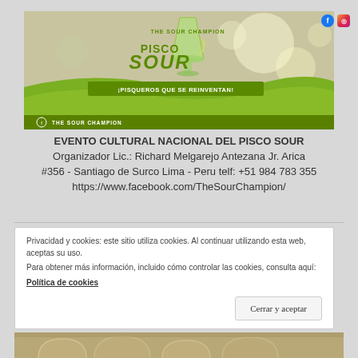[Figure (illustration): The Sour Champion Pisco Sour promotional banner with green and white design, cocktail glass graphic, tagline '¡PISQUEROS QUE SE REINVENTAN!' and 'THE SOUR CHAMPION' logo at bottom left. Social media icons (Facebook, Instagram) in top right corner.]
EVENTO CULTURAL NACIONAL DEL PISCO SOUR Organizador Lic.: Richard Melgarejo Antezana Jr. Arica #356 - Santiago de Surco Lima - Peru telf: +51 984 783 355 https://www.facebook.com/TheSourChampion/
Privacidad y cookies: este sitio utiliza cookies. Al continuar utilizando esta web, aceptas su uso.
Para obtener más información, incluido cómo controlar las cookies, consulta aquí:
Política de cookies
[Figure (photo): Bottom strip of a photo showing an outdoor event setup with decorative arches or fabric structures, partially visible.]